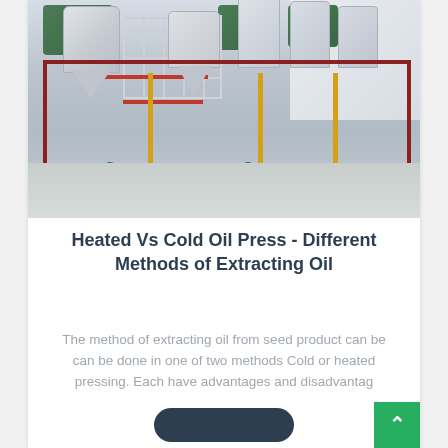[Figure (photo): Industrial oil extraction or pressing equipment: a large metal frame painted red holding multiple gray conical-bottomed tanks and cylindrical vessels, with yellow vertical support bars, blue valves, red piping, and green machinery on top, inside a factory/warehouse building.]
Heated Vs Cold Oil Press - Different Methods of Extracting Oil
The method of extracting oil from seed product can be can be done in one of two methods Cold or heated pressing. Each have advantages and disadvantag...